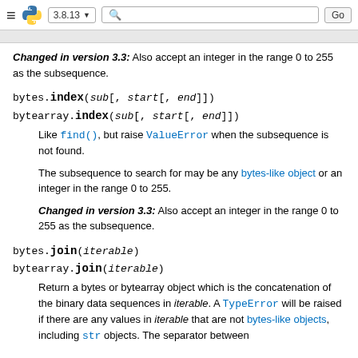≡ 🐍 3.8.13 ▾  🔍  Go
Changed in version 3.3: Also accept an integer in the range 0 to 255 as the subsequence.
bytes.index(sub[, start[, end]])
bytearray.index(sub[, start[, end]])
Like find(), but raise ValueError when the subsequence is not found.
The subsequence to search for may be any bytes-like object or an integer in the range 0 to 255.
Changed in version 3.3: Also accept an integer in the range 0 to 255 as the subsequence.
bytes.join(iterable)
bytearray.join(iterable)
Return a bytes or bytearray object which is the concatenation of the binary data sequences in iterable. A TypeError will be raised if there are any values in iterable that are not bytes-like objects, including str objects. The separator between